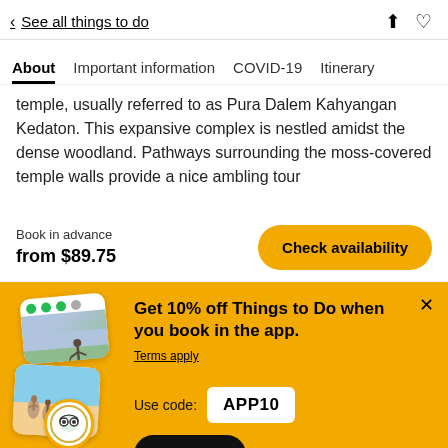< See all things to do
About | Important information | COVID-19 | Itinerary
temple, usually referred to as Pura Dalem Kahyangan Kedaton. This expansive complex is nestled amidst the dense woodland. Pathways surrounding the moss-covered temple walls provide a nice ambling tour
Book in advance
from $89.75
Check availability
Get 10% off Things to Do when you book in the app.
Terms apply
Use code: APP10
Shop now